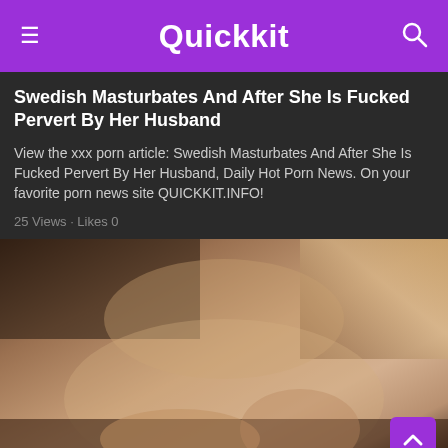Quickkit
Swedish Masturbates And After She Is Fucked Pervert By Her Husband
View the xxx porn article: Swedish Masturbates And After She Is Fucked Pervert By Her Husband, Daily Hot Porn News. On your favorite porn news site QUICKKIT.INFO!
25 Views · Likes 0
[Figure (photo): Adult content photo]